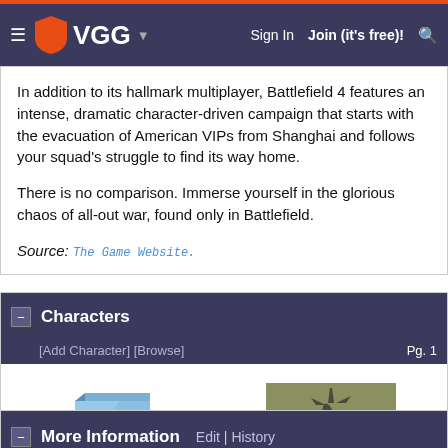VGG  Sign In  Join (it's free)!
In addition to its hallmark multiplayer, Battlefield 4 features an intense, dramatic character-driven campaign that starts with the evacuation of American VIPs from Shanghai and follows your squad's struggle to find its way home.

There is no comparison. Immerse yourself in the glorious chaos of all-out war, found only in Battlefield.

Source: The Game Website.
Characters  [Add Character] [Browse]  Pg. 1
[Figure (illustration): No Image Available placeholder graphic for 2K22 Tunguska character]
2K22 Tunguska
[Figure (photo): Aerial photo of A-10 Warthog aircraft]
A-10 Warthog
More Information  Edit | History
This page does not exist. You can edit this page to create it.